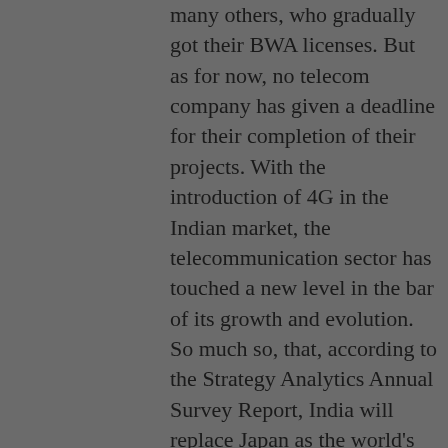many others, who gradually got their BWA licenses. But as for now, no telecom company has given a deadline for their completion of their projects. With the introduction of 4G in the Indian market, the telecommunication sector has touched a new level in the bar of its growth and evolution. So much so, that, according to the Strategy Analytics Annual Survey Report, India will replace Japan as the world's third largest 4G market by 2016. The latest boom brought by 4G has already swept the major cosmopolitans with its fervor. The number of smartphones in India has crossed 100million mark in the international market in 2015, and it is being stated that we will surpass the